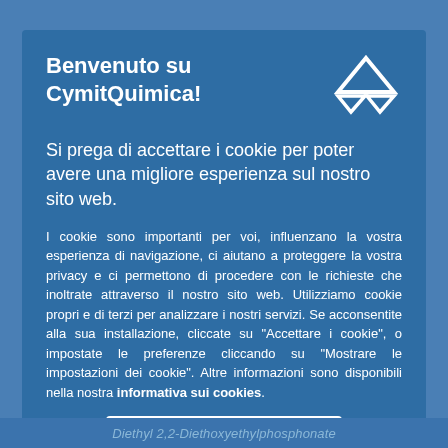Benvenuto su CymitQuimica!
Si prega di accettare i cookie per poter avere una migliore esperienza sul nostro sito web.
I cookie sono importanti per voi, influenzano la vostra esperienza di navigazione, ci aiutano a proteggere la vostra privacy e ci permettono di procedere con le richieste che inoltrate attraverso il nostro sito web. Utilizziamo cookie propri e di terzi per analizzare i nostri servizi. Se acconsentite alla sua installazione, cliccate su "Accettare i cookie", o impostate le preferenze cliccando su "Mostrare le impostazioni dei cookie". Altre informazioni sono disponibili nella nostra informativa sui cookies.
Accettare i cookie
Diethyl 2,2-Diethoxyethylphosphonate